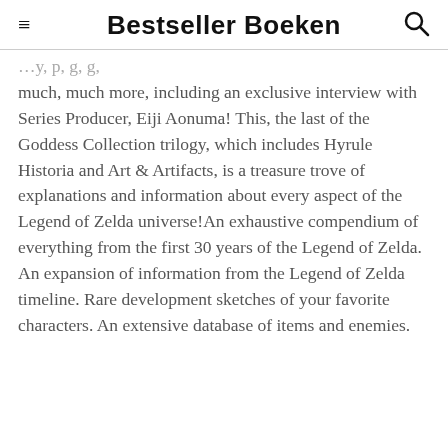Bestseller Boeken
much, much more, including an exclusive interview with Series Producer, Eiji Aonuma! This, the last of the Goddess Collection trilogy, which includes Hyrule Historia and Art & Artifacts, is a treasure trove of explanations and information about every aspect of the Legend of Zelda universe!An exhaustive compendium of everything from the first 30 years of the Legend of Zelda. An expansion of information from the Legend of Zelda timeline. Rare development sketches of your favorite characters. An extensive database of items and enemies.